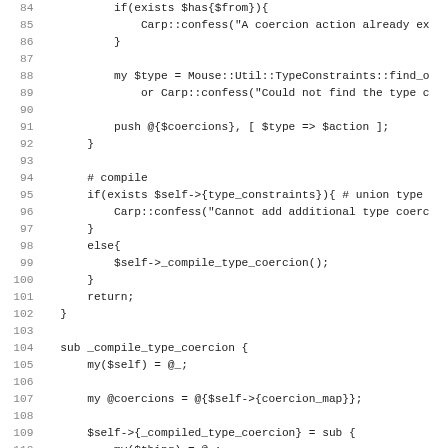[Figure (screenshot): Source code listing in Perl/Moose style, lines 84-115, showing type coercion subroutine implementation. White background with monospace font, line numbers in grey on left.]